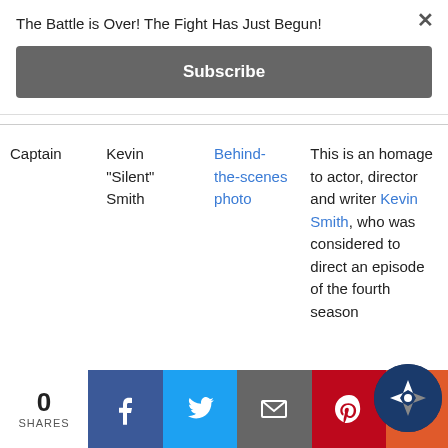The Battle is Over! The Fight Has Just Begun!
Subscribe
|  | Name | Link | Description |
| --- | --- | --- | --- |
| Captain | Kevin "Silent" Smith | Behind-the-scenes photo | This is an homage to actor, director and writer Kevin Smith, who was considered to direct an episode of the fourth season |
0 SHARES | Facebook | Twitter | Email | Pinterest | Other